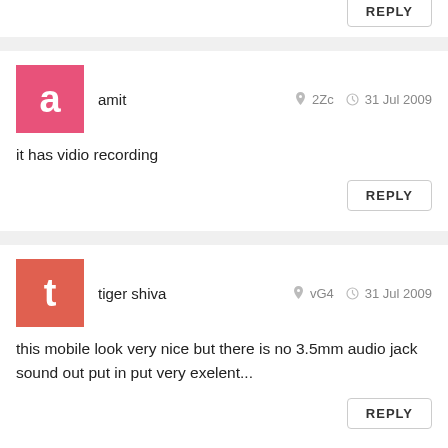REPLY
amit  2Zc  31 Jul 2009
it has vidio recording
REPLY
tiger shiva  vG4  31 Jul 2009
this mobile look very nice but there is no 3.5mm audio jack sound out put in put very exelent...
REPLY